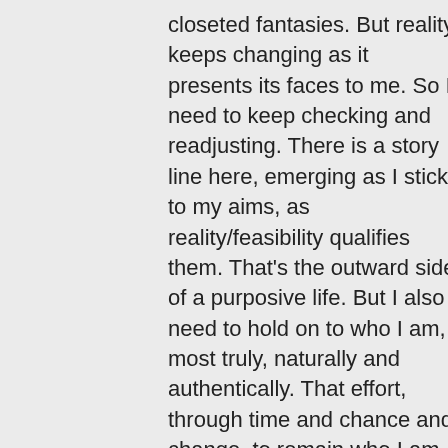closeted fantasies. But reality keeps changing as it presents its faces to me. So I need to keep checking and readjusting. There is a story line here, emerging as I stick to my aims, as reality/feasibility qualifies them. That's the outward side of a purposive life. But I also need to hold on to who I am, most truly, naturally and authentically. That effort, through time and chance and change, to remain who I am, is the inner side of the